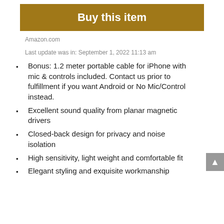Buy this item
Amazon.com
Last update was in: September 1, 2022 11:13 am
Bonus: 1.2 meter portable cable for iPhone with mic & controls included. Contact us prior to fulfillment if you want Android or No Mic/Control instead.
Excellent sound quality from planar magnetic drivers
Closed-back design for privacy and noise isolation
High sensitivity, light weight and comfortable fit
Elegant styling and exquisite workmanship